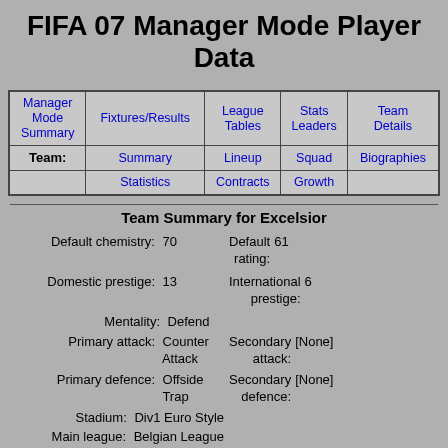FIFA 07 Manager Mode Player Data
| Manager Mode Summary | Fixtures/Results | League Tables | Stats Leaders | Team Details |
| --- | --- | --- | --- | --- |
| Team: | Summary | Lineup | Squad | Biographies |
|  | Statistics | Contracts | Growth |  |
Team Summary for Excelsior
Default chemistry: 70
Domestic prestige: 13
Mentality: Defend
Primary attack: Counter Attack
Primary defence: Offside Trap
Stadium: Div1 Euro Style
Main league: Belgian League
Default rating: 61
International prestige: 6
Secondary attack: [None]
Secondary defence: [None]